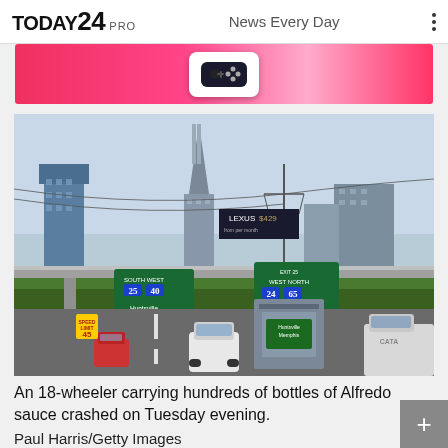TODAY24 PRO  News Every Day
[Figure (photo): Pink/red advertisement banner with a gaming controller graphic]
[Figure (photo): Highway photo showing Nashville, Tennessee skyline with interstate road signs for I-65, I-40, I-24, showing directions to Huntsville, Memphis, Clarksville, Louisville. Heavy traffic with an 18-wheeler truck. Speed limit sign showing 45.]
An 18-wheeler carrying hundreds of bottles of Alfredo sauce crashed on Tuesday evening.
Paul Harris/Getty Images